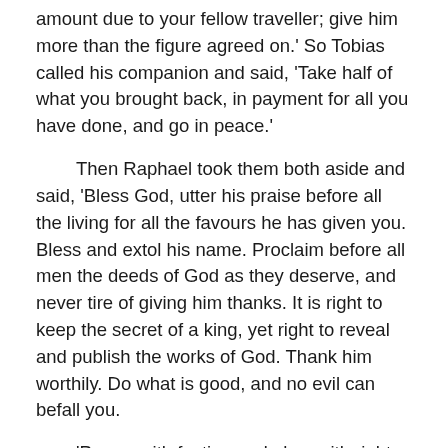amount due to your fellow traveller; give him more than the figure agreed on.' So Tobias called his companion and said, 'Take half of what you brought back, in payment for all you have done, and go in peace.'
Then Raphael took them both aside and said, 'Bless God, utter his praise before all the living for all the favours he has given you. Bless and extol his name. Proclaim before all men the deeds of God as they deserve, and never tire of giving him thanks. It is right to keep the secret of a king, yet right to reveal and publish the works of God. Thank him worthily. Do what is good, and no evil can befall you.
'Prayer with fasting and alms with right conduct are better than riches with iniquity. Better to practise almsgiving than to hoard up gold. Almsgiving saves from